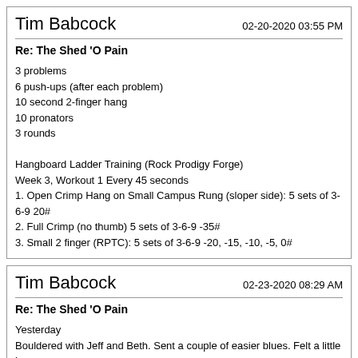Tim Babcock  02-20-2020 03:55 PM
Re: The Shed 'O Pain
3 problems
6 push-ups (after each problem)
10 second 2-finger hang
10 pronators
3 rounds

Hangboard Ladder Training (Rock Prodigy Forge)
Week 3, Workout 1 Every 45 seconds
1. Open Crimp Hang on Small Campus Rung (sloper side): 5 sets of 3-6-9 20#
2. Full Crimp (no thumb) 5 sets of 3-6-9 -35#
3. Small 2 finger (RPTC): 5 sets of 3-6-9 -20, -15, -10, -5, 0#
Tim Babcock  02-23-2020 08:29 AM
Re: The Shed 'O Pain
Yesterday
Bouldered with Jeff and Beth. Sent a couple of easier blues. Felt a little heavy.

Today
WARM UPS